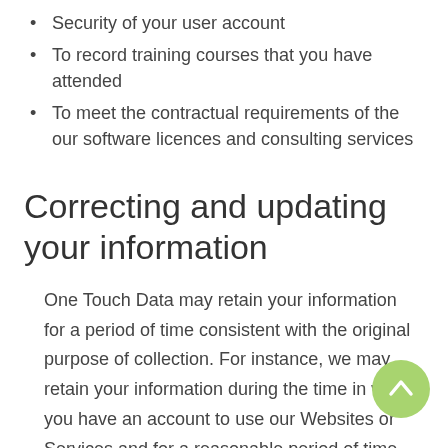Security of your user account
To record training courses that you have attended
To meet the contractual requirements of the our software licences and consulting services
Correcting and updating your information
One Touch Data may retain your information for a period of time consistent with the original purpose of collection. For instance, we may retain your information during the time in which you have an account to use our Websites or Services and for a reasonable period of time afterward. We also may retain your information during the period of time needed for One Touch Data to pursue our